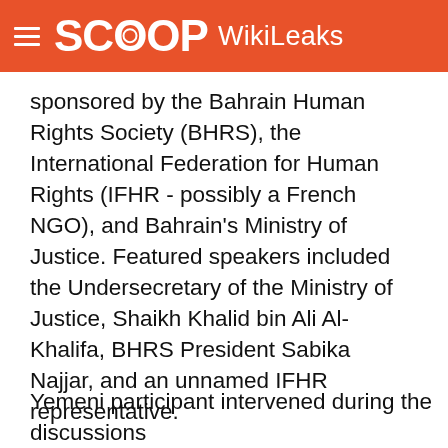SCOOP WikiLeaks
sponsored by the Bahrain Human Rights Society (BHRS), the International Federation for Human Rights (IFHR - possibly a French NGO), and Bahrain's Ministry of Justice. Featured speakers included the Undersecretary of the Ministry of Justice, Shaikh Khalid bin Ali Al-Khalifa, BHRS President Sabika Najjar, and an unnamed IFHR representative.
3. The journalist who wrote the story told POLFSN that a Yemeni participant intervened during the discussions